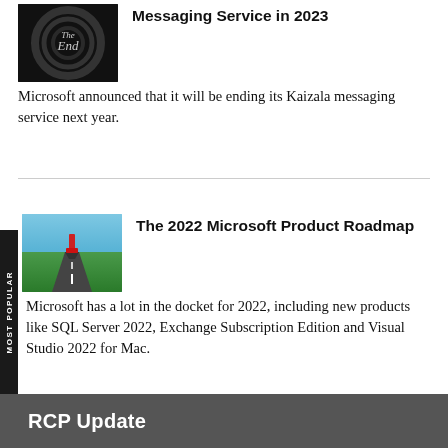[Figure (illustration): Black circular 'The End' logo image thumbnail]
Messaging Service in 2023
Microsoft announced that it will be ending its Kaizala messaging service next year.
[Figure (photo): Road leading to horizon with red paint roller in the middle, blue sky background]
The 2022 Microsoft Product Roadmap
Microsoft has a lot in the docket for 2022, including new products like SQL Server 2022, Exchange Subscription Edition and Visual Studio 2022 for Mac.
RCP Update